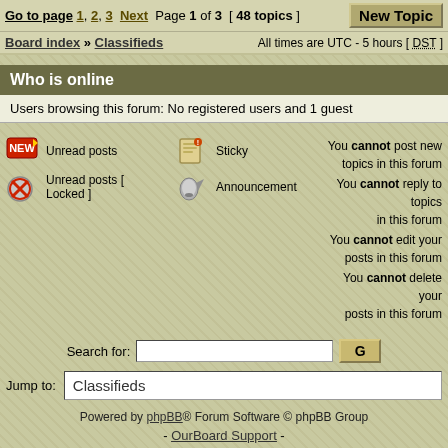Go to page 1, 2, 3  Next   Page 1 of 3  [ 48 topics ]   New Topic
Board index » Classifieds    All times are UTC - 5 hours [ DST ]
Who is online
Users browsing this forum: No registered users and 1 guest
Unread posts
Unread posts [ Locked ]
Sticky
Announcement
You cannot post new topics in this forum
You cannot reply to topics in this forum
You cannot edit your posts in this forum
You cannot delete your posts in this forum
Search for:
Jump to:  Classifieds
Powered by phpBB® Forum Software © phpBB Group
- OurBoard Support -